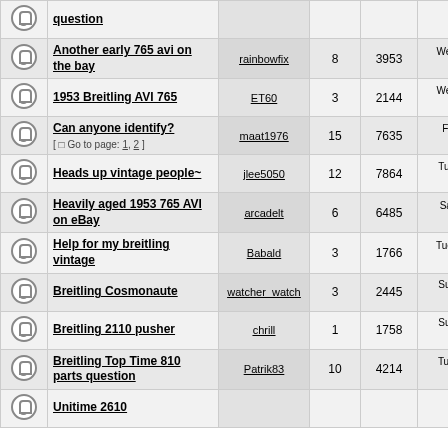|  | Topic | Author | Replies | Views | Last Post |
| --- | --- | --- | --- | --- | --- |
|  | Another early 765 avi on the bay | rainbowfix | 8 | 3953 | Wed Feb 23, 2022 3:.. ET60 → |
|  | 1953 Breitling AVI 765 | ET60 | 3 | 2144 | Wed Feb 23, 2022 8:.. ET60 → |
|  | Can anyone identify? [ Go to page: 1, 2 ] | maat1976 | 15 | 7635 | Fri Feb 11, 2022 9:.. liebs520 → |
|  | Heads up vintage people~ | jlee5050 | 12 | 7864 | Tue Feb 01, 2022 8:.. b12 → |
|  | Heavily aged 1953 765 AVI on eBay | arcadelt | 6 | 6485 | Sat Jan 29, 2022 2:.. ET60 → |
|  | Help for my breitling vintage | Babald | 3 | 1766 | Tue Jan 25, 2022 11:.. buddman → |
|  | Breitling Cosmonaute | watcher_watch | 3 | 2445 | Sun Jan 02, 2022 9:.. buddman → |
|  | Breitling 2110 pusher | chrill | 1 | 1758 | Sun Jan 02, 2022 5:.. donmenzies → |
|  | Breitling Top Time 810 parts question | Patrik83 | 10 | 4214 | Tue Nov 30, 2021 3:.. Patrik83 → |
|  | Unitime 2610 |  |  |  |  |